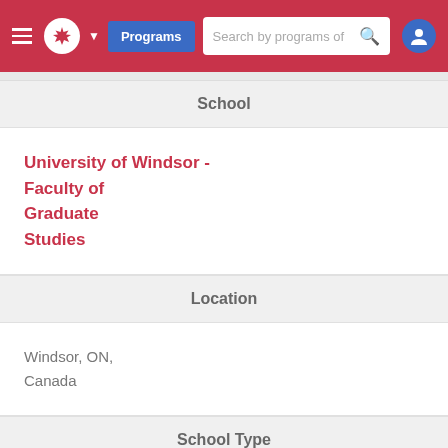Programs  Search by programs of
School
University of Windsor - Faculty of Graduate Studies
Location
Windsor, ON, Canada
School Type
Graduate School